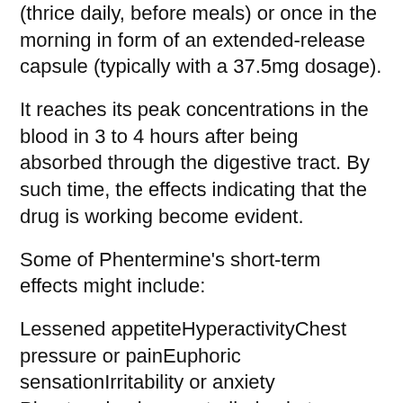(thrice daily, before meals) or once in the morning in form of an extended-release capsule (typically with a 37.5mg dosage).
It reaches its peak concentrations in the blood in 3 to 4 hours after being absorbed through the digestive tract. By such time, the effects indicating that the drug is working become evident.
Some of Phentermine's short-term effects might include:
Lessened appetiteHyperactivityChest pressure or painEuphoric sensationIrritability or anxiety Phentermine is a controlled substance (listed on the Drug Enforcement Agency's March 2008 List of Controlled Substances). Phentermine can only be legally obtained by doctor's prescription due to its amphetamine-like effects. These include an increase in the level of dopamine, serotonin, and